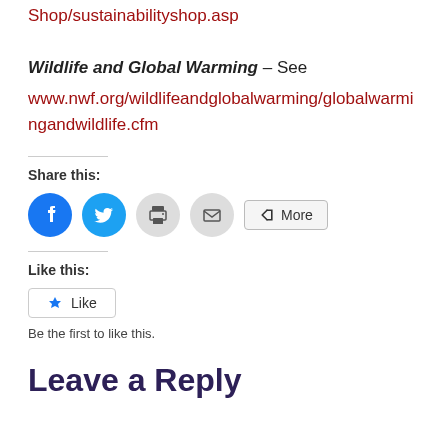Shop/sustainabilityshop.asp
Wildlife and Global Warming – See
www.nwf.org/wildlifeandglobalwarming/globalwarmingandwildlife.cfm
Share this:
[Figure (infographic): Social share buttons: Facebook (blue circle), Twitter (blue circle), Print (grey circle), Email (grey circle), More button]
Like this:
[Figure (infographic): Like button with star icon]
Be the first to like this.
Leave a Reply